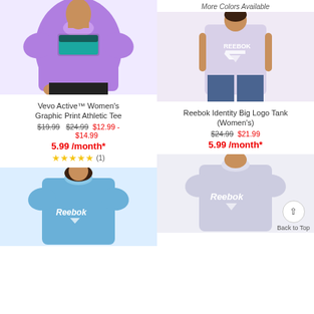[Figure (photo): Woman wearing purple Vevo Active graphic print athletic tee, cropped view showing torso]
Vevo Active™ Women's Graphic Print Athletic Tee
$19.99  $24.99 $12.99 - $14.99
5.99 /month*
★★★★★ (1)
More Colors Available
[Figure (photo): Woman wearing white Reebok Identity Big Logo Tank, lavender/gray color, with blue leggings]
Reebok Identity Big Logo Tank (Women's)
$24.99 $21.99
5.99 /month*
[Figure (photo): Woman wearing light blue Reebok graphic tee, cropped view]
[Figure (photo): Woman wearing light gray Reebok graphic tee, cropped view, Back to Top button visible]